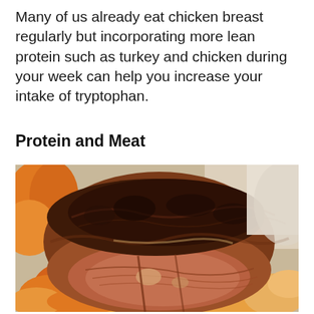Many of us already eat chicken breast regularly but incorporating more lean protein such as turkey and chicken during your week can help you increase your intake of tryptophan.
Protein and Meat
[Figure (photo): Close-up photograph of a large roasted/braised piece of meat (beef roast) with a dark, caramelized crust on top, sliced to reveal the interior, served alongside orange/yellow roasted vegetables such as carrots and potatoes on a white plate.]